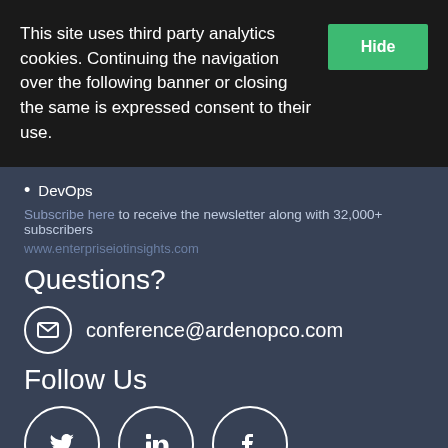This site uses third party analytics cookies. Continuing the navigation over the following banner or closing the same is expressed consent to their use.
Hide
DevOps
Subscribe here to receive the newsletter along with 32,000+ subscribers
www.enterpriseiotinsights.com
Questions?
conference@ardenopco.com
Follow Us
[Figure (other): Social media icons: Twitter, LinkedIn, Facebook in circular outlines]